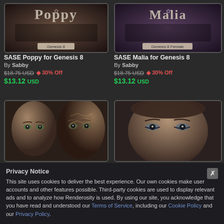[Figure (screenshot): Product image for SASE Poppy for Genesis 8 showing stylized 3D character render with 'Poppy' text logo and 'Genesis 8' label]
SASE Poppy for Genesis 8
By Sabby
$18.75 USD  ◆ 30% Off  $13.12 USD
[Figure (screenshot): Product image for SASE Malia for Genesis 8 showing stylized 3D character render with 'Malia' text logo and 'Genesis 8 Female' label]
SASE Malia for Genesis 8
By Sabby
$18.75 USD  ◆ 30% Off  $13.12 USD
[Figure (screenshot): Two 3D rendered female character faces close up showing detailed eyes and makeup]
[Figure (screenshot): 3D rendered female character face close up showing detailed eyes and makeup]
Privacy Notice
This site uses cookies to deliver the best experience. Our own cookies make user accounts and other features possible. Third-party cookies are used to display relevant ads and to analyze how Renderosity is used. By using our site, you acknowledge that you have read and understood our Terms of Service, including our Cookie Policy and our Privacy Policy.